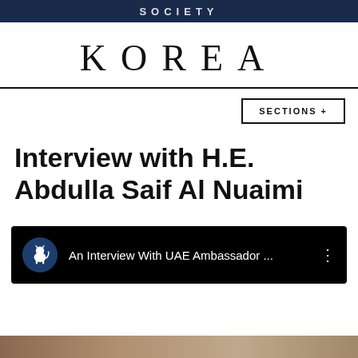SOCIETY
KOREA
SECTIONS +
Interview with H.E. Abdulla Saif Al Nuaimi
[Figure (screenshot): Video embed thumbnail showing 'An Interview With UAE Ambassador ...' with a tiger/lion logo on dark blue circle background and three-dot menu icon on black background]